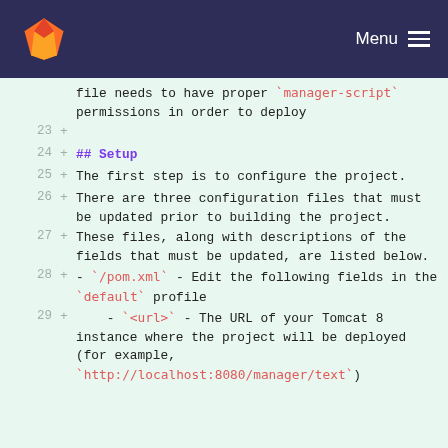GitLab logo | Menu
file needs to have proper `manager-script` permissions in order to deploy
23 +
24 + ## Setup
25 + The first step is to configure the project.
26 + There are three configuration files that must be updated prior to building the project.
27 + These files, along with descriptions of the fields that must be updated, are listed below.
28 + - `/pom.xml` - Edit the following fields in the `default` profile
29 +     - `<url>` - The URL of your Tomcat 8 instance where the project will be deployed (for example, `http://localhost:8080/manager/text`)